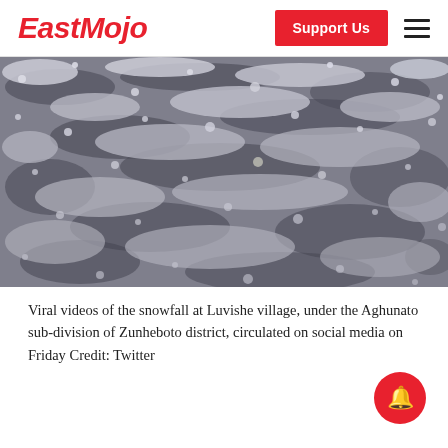EastMojo
[Figure (photo): Close-up photo of snowfall at Luvishe village - snow-covered surface with dark rocky/icy texture visible beneath white snow crystals]
Viral videos of the snowfall at Luvishe village, under the Aghunato sub-division of Zunheboto district, circulated on social media on Friday Credit: Twitter